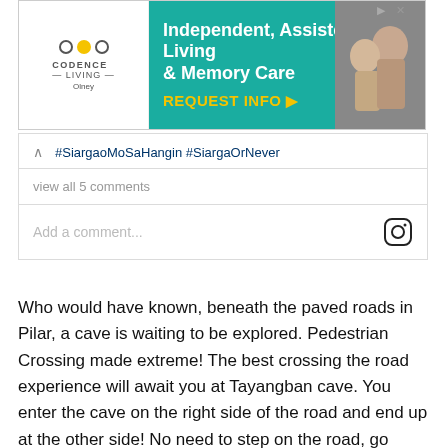[Figure (other): Codence Living Olney advertisement banner for Independent, Assisted Living & Memory Care with REQUEST INFO call to action on teal background, photo of elderly couple on right]
#SiargaoMoSaHangin #SiargaOrNever
view all 5 comments
Add a comment...
Who would have known, beneath the paved roads in Pilar, a cave is waiting to be explored. Pedestrian Crossing made extreme! The best crossing the road experience will await you at Tayangban cave. You enter the cave on the right side of the road and end up at the other side! No need to step on the road, go under it! The cave was preserve as another tourist attraction in Siargao. At the end of the spelunking exp, you might want to cliff jump at the mini canyoneering feels finish lic...